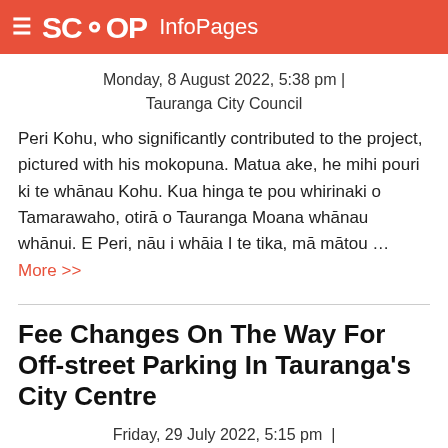SCOOP InfoPages
Monday, 8 August 2022, 5:38 pm | Tauranga City Council
Peri Kohu, who significantly contributed to the project, pictured with his mokopuna. Matua ake, he mihi pouri ki te whānau Kohu. Kua hinga te pou whirinaki o Tamarawaho, otirā o Tauranga Moana whānau whānui. E Peri, nāu i whāia I te tika, mā mātou … More >>
Fee Changes On The Way For Off-street Parking In Tauranga's City Centre
Friday, 29 July 2022, 5:15 pm | Tauranga City Council